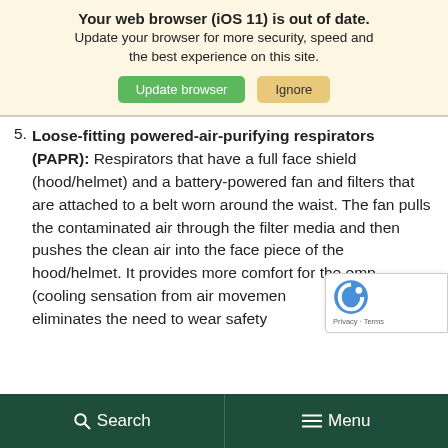[Figure (screenshot): Browser update notification banner with bold title 'Your web browser (iOS 11) is out of date.' and subtitle text, plus green 'Update browser' and tan 'Ignore' buttons]
5. Loose-fitting powered-air-purifying respirators (PAPR): Respirators that have a full face shield (hood/helmet) and a battery-powered fan and filters that are attached to a belt worn around the waist. The fan pulls the contaminated air through the filter media and then pushes the clean air into the face piece of the hood/helmet. It provides more comfort for the emp (cooling sensation from air movemen eliminates the need to wear safety
[Figure (logo): reCAPTCHA logo with Privacy and Terms links]
Search   Menu